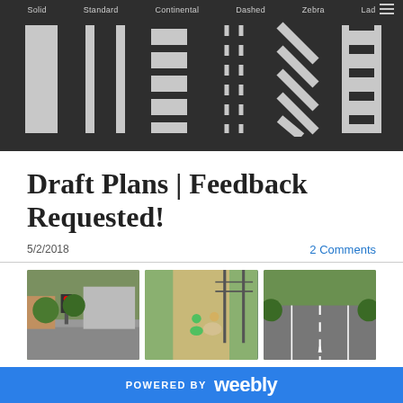Solid | Standard | Continental | Dashed | Zebra | Ladder
[Figure (illustration): Crosswalk pattern types shown as white-on-dark diagrams: Solid, Standard, Continental, Dashed, Zebra, Ladder]
Draft Plans | Feedback Requested!
5/2/2018
2 Comments
[Figure (photo): Three street/trail photos showing a pedestrian crossing area, a bike/horse trail, and a wide road with lane markings]